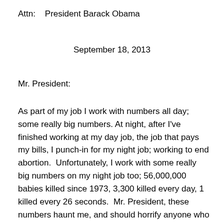Attn:    President Barack Obama
September 18, 2013
Mr. President:
As part of my job I work with numbers all day; some really big numbers. At night, after I've finished working at my day job, the job that pays my bills, I punch-in for my night job; working to end abortion.  Unfortunately, I work with some really big numbers on my night job too; 56,000,000 babies killed since 1973, 3,300 killed every day, 1 killed every 26 seconds.  Mr. President, these numbers haunt me, and should horrify anyone who sees them.  Every one of these numbers represents a dead child; a child that was killed because now wasn't the right time to have a baby, or because it had Down syndrome, or because the young